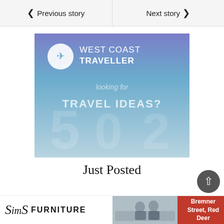< Previous story
Next story >
[Figure (illustration): West Coast Traveller advertisement banner with gradient blue/purple background. Logo with plane icon, text 'WEST COAST TRAVELLER', 'looking for' subtext, 'TRAVEL IDEAS?' in large letters, decorative large numerals in background.]
Just Posted
[Figure (illustration): Sims Furniture advertisement banner with logo (script 'Sims' and bold 'FURNITURE'), photo of two men on a couch, and red address block reading 'Bremner Street, Red Deer']